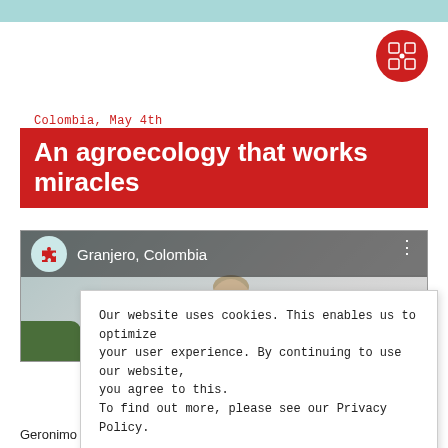[Figure (logo): Red circular logo with grid/puzzle pattern in white, top right corner]
Colombia, May 4th
An agroecology that works miracles
[Figure (screenshot): Video thumbnail showing Granjero, Colombia with puzzle icon and man in hat]
Our website uses cookies. This enables us to optimize your user experience. By continuing to use our website, you agree to this.
To find out more, please see our Privacy Policy.
I agree
Geronimo Gutierrez takes us on a tour of his